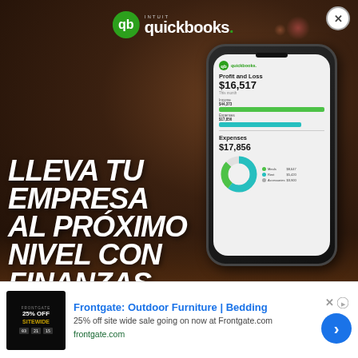[Figure (photo): Intuit QuickBooks advertisement showing a hand holding a smartphone displaying a Profit and Loss screen with $16,517 and Expenses $17,856 with a donut chart. Dark warm background with bokeh lighting. Spanish text overlay reads: LLEVA TU EMPRESA AL PRÓXIMO NIVEL CON FINANZAS CONFIABLES Y BIEN]
[Figure (screenshot): QuickBooks mobile app screen showing Profit and Loss $16,517 with green and teal horizontal bars for income ($44,373) and expenses ($17,856), and an Expenses donut chart for $17,856 with legend items Meals, Rent, Accessories]
LLEVA TU EMPRESA AL PRÓXIMO NIVEL CON FINANZAS CONFIABLES Y BIEN
[Figure (logo): Intuit QuickBooks logo — green QB icon with white intuit text above and quickbooks. wordmark]
Frontgate: Outdoor Furniture | Bedding
25% off site wide sale going on now at Frontgate.com
frontgate.com
[Figure (photo): Frontgate advertisement thumbnail: dark background with '25% OFF SITEWIDE' text in white and gold, countdown timer showing 03:21:15]